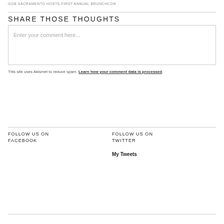GGB SACRAMENTO HOSTS FIRST ANNUAL BRUNCHCON
SHARE THOSE THOUGHTS
Enter your comment here...
This site uses Akismet to reduce spam. Learn how your comment data is processed.
FOLLOW US ON FACEBOOK
FOLLOW US ON TWITTER
My Tweets